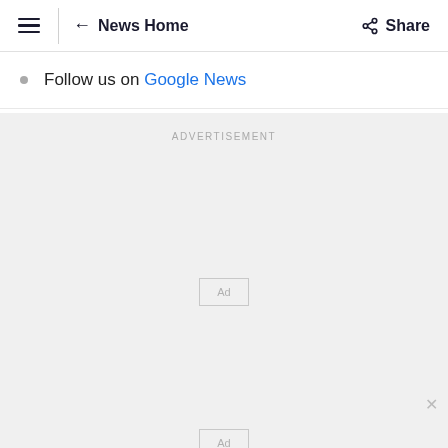≡  ← News Home    ⋜ Share
Follow us on Google News
ADVERTISEMENT
[Figure (other): Advertisement placeholder box labeled 'Ad']
[Figure (other): Advertisement placeholder box labeled 'Ad' with close (×) button]